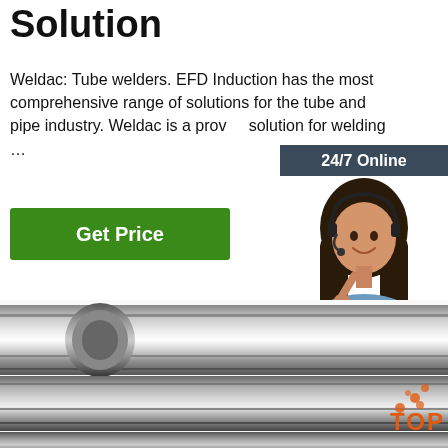Solution
Weldac: Tube welders. EFD Induction has the most comprehensive range of solutions for the tube and pipe industry. Weldac is a proven solution for welding …
[Figure (screenshot): Green 'Get Price' button]
[Figure (photo): 24/7 online chat widget with woman wearing headset, 'Click here for free chat!' text and orange QUOTATION button]
[Figure (photo): Polished steel/metal tubes (round bars) photographed diagonally, with orange TOP logo in bottom right]